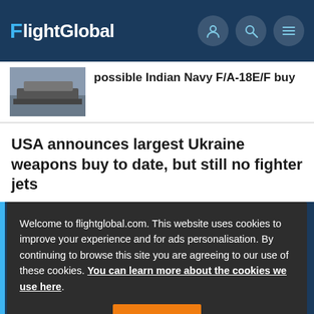FlightGlobal
possible Indian Navy F/A-18E/F buy
USA announces largest Ukraine weapons buy to date, but still no fighter jets
Welcome to flightglobal.com. This website uses cookies to improve your experience and for ads personalisation. By continuing to browse this site you are agreeing to our use of these cookies. You can learn more about the cookies we use here.
OK
FlightGlobal is the global aviation community's primary